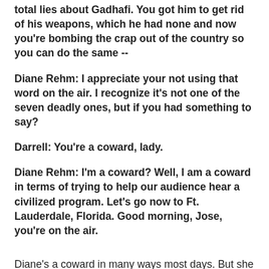total lies about Gadhafi. You got him to get rid of his weapons, which he had none and now you're bombing the crap out of the country so you can do the same --
Diane Rehm: I appreciate your not using that word on the air. I recognize it's not one of the seven deadly ones, but if you had something to say?
Darrell: You're a coward, lady.
Diane Rehm: I'm a coward? Well, I am a coward in terms of trying to help our audience hear a civilized program. Let's go now to Ft. Lauderdale, Florida. Good morning, Jose, you're on the air.
Diane's a coward in many ways most days. But she was an idiot as well Friday.
Not just because she banned "crap" from the same airwaves that Terry Gross uses to spew "fa**ot" over and over again. But because she never informed Darrell what word was